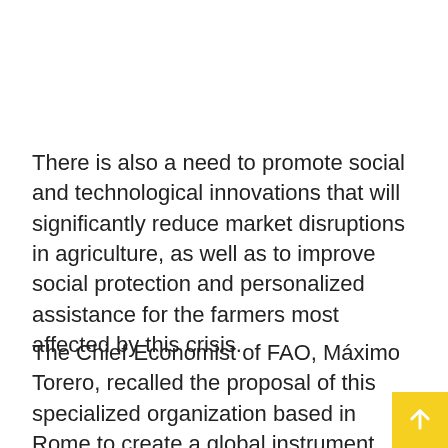There is also a need to promote social and technological innovations that will significantly reduce market disruptions in agriculture, as well as to improve social protection and personalized assistance for the farmers most affected by this crisis.
The Chief Economist of FAO, Máximo Torero, recalled the proposal of this specialized organization based in Rome to create a global instrument, called the Food Imports Financing